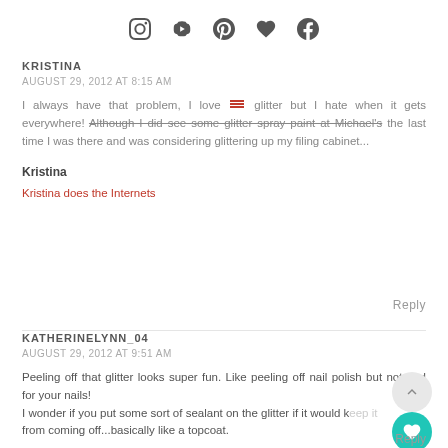Social media icons: Instagram, YouTube, Pinterest, Heart, Facebook
KRISTINA
AUGUST 29, 2012 AT 8:15 AM
I always have that problem, I love glitter but I hate when it gets everywhere! Although I did see some glitter spray paint at Michael's the last time I was there and was considering glittering up my filing cabinet...
Kristina
Kristina does the Internets
Reply
KATHERINELYNN_04
AUGUST 29, 2012 AT 9:51 AM
Peeling off that glitter looks super fun. Like peeling off nail polish but not bad for your nails!
I wonder if you put some sort of sealant on the glitter if it would keep it from coming off...basically like a topcoat.
Reply